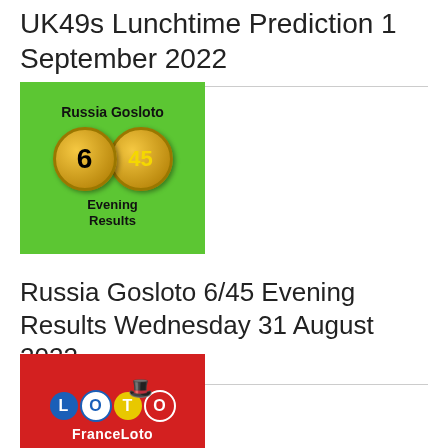UK49s Lunchtime Prediction 1 September 2022
[Figure (illustration): Russia Gosloto 6/45 Evening Results logo on green background with two gold lottery balls showing numbers 6 and 45, with text 'Russia Gosloto' at top and 'Evening Results' at bottom]
Russia Gosloto 6/45 Evening Results Wednesday 31 August 2022
[Figure (illustration): France Loto logo on red background with colorful letter balls spelling LOTO with a top hat, and FranceLoto text below]